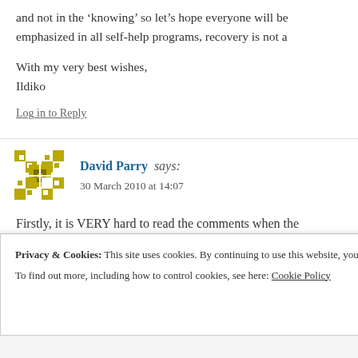and not in the ‘knowing’ so let’s hope everyone will be emphasized in all self-help programs, recovery is not a
With my very best wishes,
Ildiko
Log in to Reply
David Parry says:
30 March 2010 at 14:07
Firstly, it is VERY hard to read the comments when the small print that even lawyers would have trouble with.
Privacy & Cookies: This site uses cookies. By continuing to use this website, you agree to their use.
To find out more, including how to control cookies, see here: Cookie Policy
Close and accept